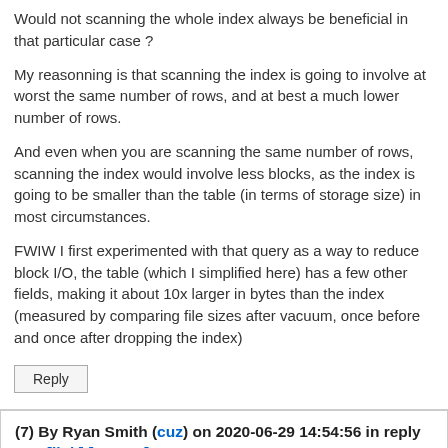Would not scanning the whole index always be beneficial in that particular case ?
My reasonning is that scanning the index is going to involve at worst the same number of rows, and at best a much lower number of rows.
And even when you are scanning the same number of rows, scanning the index would involve less blocks, as the index is going to be smaller than the table (in terms of storage size) in most circumstances.
FWIW I first experimented with that query as a way to reduce block I/O, the table (which I simplified here) has a few other fields, making it about 10x larger in bytes than the index (measured by comparing file sizes after vacuum, once before and once after dropping the index)
Reply
(7) By Ryan Smith (cuz) on 2020-06-29 14:54:56 in reply to 6 [link] [source]
Would not scanning the whole index always